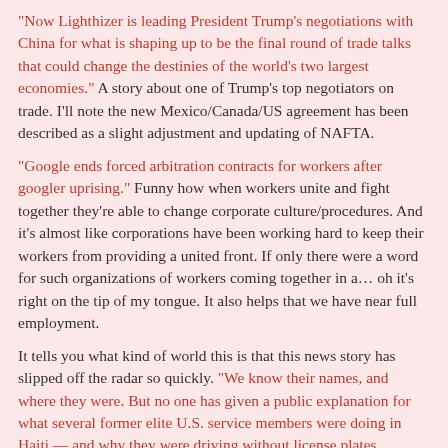"Now Lighthizer is leading President Trump's negotiations with China for what is shaping up to be the final round of trade talks that could change the destinies of the world's two largest economies." A story about one of Trump's top negotiators on trade. I'll note the new Mexico/Canada/US agreement has been described as a slight adjustment and updating of NAFTA.
"Google ends forced arbitration contracts for workers after googler uprising." Funny how when workers unite and fight together they're able to change corporate culture/procedures. And it's almost like corporations have been working hard to keep their workers from providing a united front. If only there were a word for such organizations of workers coming together in a… oh it's right on the tip of my tongue. It also helps that we have near full employment.
It tells you what kind of world this is that this news story has slipped off the radar so quickly. "We know their names, and where they were. But no one has given a public explanation for what several former elite U.S. service members were doing in Haiti — and why they were driving without license plates, carrying an assortment of automatic rifles, drones, and other gear… 'They said